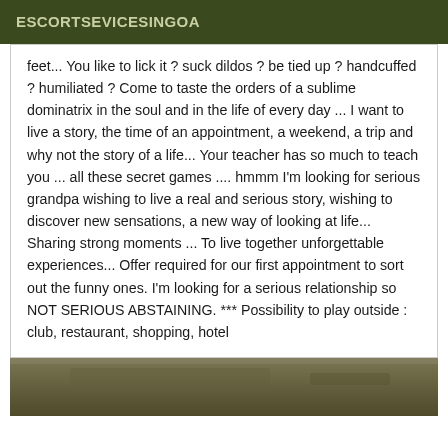ESCORTSEVICESINGOA
feet... You like to lick it ? suck dildos ? be tied up ? handcuffed ? humiliated ? Come to taste the orders of a sublime dominatrix in the soul and in the life of every day ... I want to live a story, the time of an appointment, a weekend, a trip and why not the story of a life... Your teacher has so much to teach you ... all these secret games .... hmmm I'm looking for serious grandpa wishing to live a real and serious story, wishing to discover new sensations, a new way of looking at life... Sharing strong moments ... To live together unforgettable experiences... Offer required for our first appointment to sort out the funny ones. I'm looking for a serious relationship so NOT SERIOUS ABSTAINING. *** Possibility to play outside : club, restaurant, shopping, hotel
[Figure (photo): Partial photo strip at the bottom of the page, showing a blurred interior/surface scene in muted olive and brown tones.]